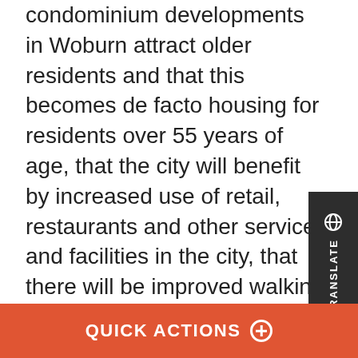condominium developments in Woburn attract older residents and that this becomes de facto housing for residents over 55 years of age, that the city will benefit by increased use of retail, restaurants and other services and facilities in the city, that there will be improved walking paths and beautification of the area, that these are local developers with great track records, that there will be no more than one bedroom per 1,000 square feet of gross l area, that the proposals are designed so that the front setback begins at ten feet in from Main Street, that the developers would donate this ten feet to the city for widening Main Street, that this is not stated in the document but is the intent of the developers, that the project will be built with certain components, that if the Alzheimer unit is to close the owner would have to come back to amend the special permit, that there could be a
QUICK ACTIONS